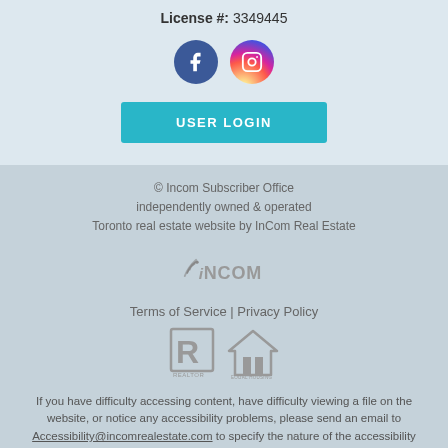License #: 3349445
[Figure (logo): Facebook and Instagram social media icons]
[Figure (other): USER LOGIN button]
© Incom Subscriber Office independently owned & operated Toronto real estate website by InCom Real Estate
[Figure (logo): iNCOM logo with wireless signal icon]
Terms of Service | Privacy Policy
[Figure (logo): REALTOR and Equal Housing Opportunity logos]
If you have difficulty accessing content, have difficulty viewing a file on the website, or notice any accessibility problems, please send an email to Accessibility@incomrealestate.com to specify the nature of the accessibility issue and any assistive technology you use. We will strive to provide the content you need in the format you require.